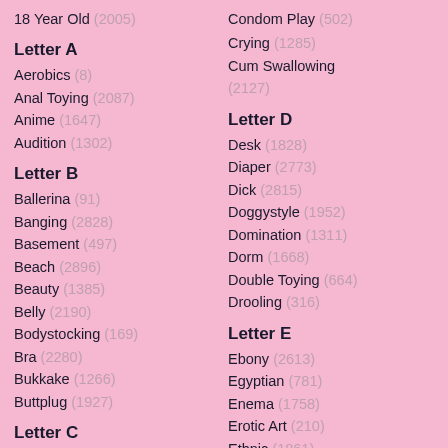18 Year Old (2005)
Letter A
Aerobics (8)
Anal Toying (2087)
Anime (1647)
Audition (1302)
Letter B
Ballerina (91)
Banging (2828)
Basement (497)
Beach (2896)
Beauty (1385)
Belly (2190)
Bodystocking (169)
Bra (2280)
Bukkake (1266)
Buttplug (1927)
Letter C
Centerfold (19)
Condom Play (502)
Crying (1285)
Cum Swallowing (2127)
Letter D
Desk (1828)
Diaper (2773)
Dick (2815)
Doggystyle (1952)
Domination (1311)
Dorm (1668)
Double Toying (664)
Drooling (316)
Letter E
Ebony (2613)
Egyptian (781)
Enema (1758)
Erotic Art (210)
Ethnic (1861)
Ex-girlfriend (30)
Exploited (68)